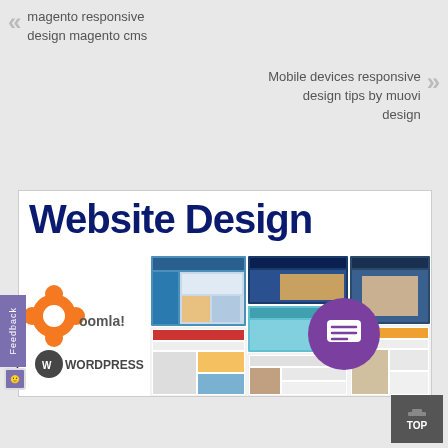magento responsive design magento cms
Mobile devices responsive design tips by muovi design
[Figure (screenshot): Website Design collage showing Joomla, WordPress and various website screenshots with title 'Website Design']
WordPress web design wordpress responsive